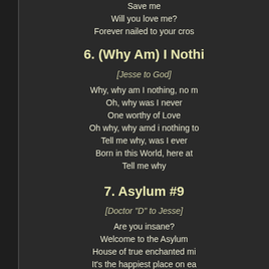Save me
Will you love me?
Forever nailed to your cros
6. (Why Am) I Nothi
[Jesse to God]
Why, why am I nothing, no m
Oh, why was I never
One worthy of Love
Oh why, why amd i nothing to
Tell me why, was I ever
Born in this World, here at
Tell me why
7. Asylum #9
[Doctor "D" to Jesse]
Are you insane?
Welcome to the Asylum
House of true enchanted mi
It's the happiest place on ea
For the violent